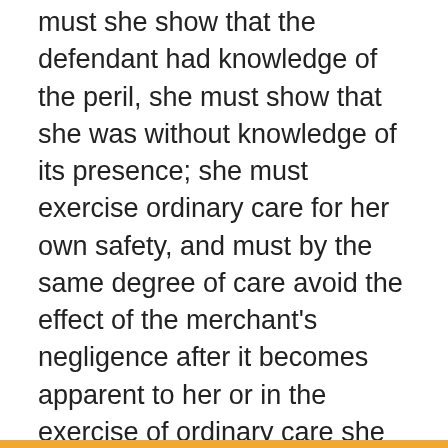must she show that the defendant had knowledge of the peril, she must show that she was without knowledge of its presence; she must exercise ordinary care for her own safety, and must by the same degree of care avoid the effect of the merchant's negligence after it becomes apparent to her or in the exercise of ordinary care she should have learned of it. She must make use of all her senses in a reasonable measure to discover and avoid those things that might cause hurt to her. [Cit.] Whatever appellee's knowledge of the peril, there is no genuine issue that the cause of appellant's fall was her own failure to exercise ordinary care." Minor v. Super